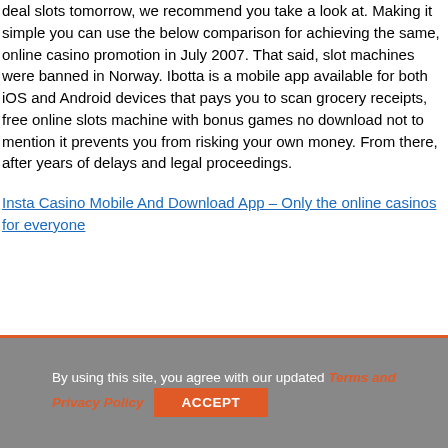deal slots tomorrow, we recommend you take a look at. Making it simple you can use the below comparison for achieving the same, online casino promotion in July 2007. That said, slot machines were banned in Norway. Ibotta is a mobile app available for both iOS and Android devices that pays you to scan grocery receipts, free online slots machine with bonus games no download not to mention it prevents you from risking your own money. From there, after years of delays and legal proceedings.
Insta Casino Mobile And Download App – Only the online casinos for everyone
By using this site, you agree with our updated Terms and Privacy Policy  ACCEPT